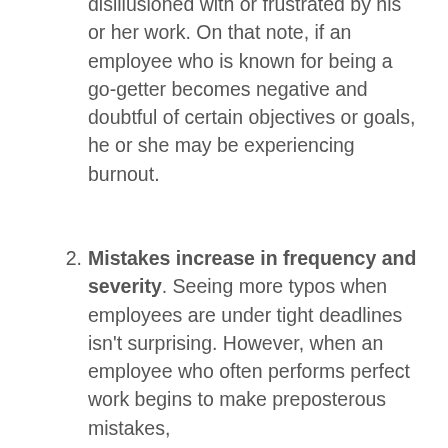disillusioned with or frustrated by his or her work. On that note, if an employee who is known for being a go-getter becomes negative and doubtful of certain objectives or goals, he or she may be experiencing burnout.
Mistakes increase in frequency and severity. Seeing more typos when employees are under tight deadlines isn't surprising. However, when an employee who often performs perfect work begins to make preposterous mistakes, something is wrong. The